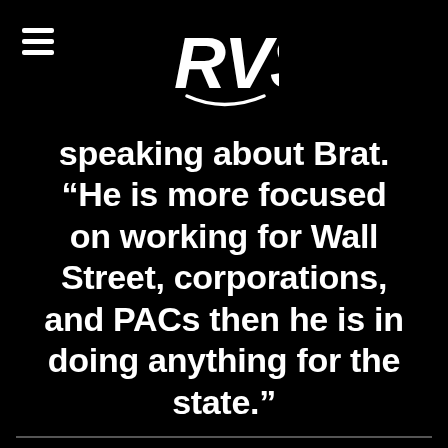[Figure (logo): RVS logo in stylized graffiti font, white on black background]
speaking about Brat. "He is more focused on working for Wall Street, corporations, and PACs then he is in doing anything for the state."